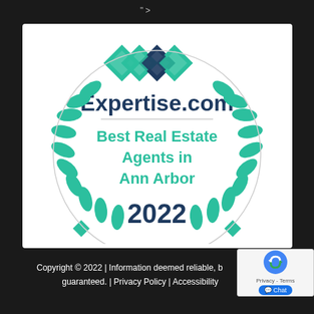" >
[Figure (logo): Expertise.com award badge: Best Real Estate Agents in Ann Arbor 2022, with teal laurel wreath and diamond logo]
Copyright © 2022 | Information deemed reliable, but not guaranteed. | Privacy Policy | Accessibility
[Figure (other): reCAPTCHA badge and Chat button]